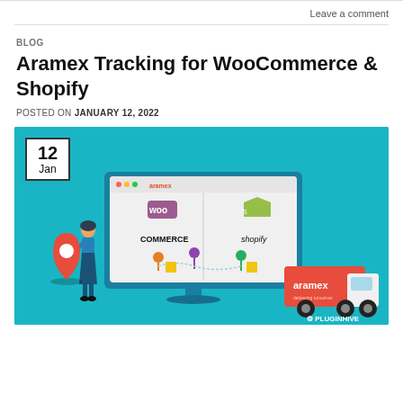Leave a comment
BLOG
Aramex Tracking for WooCommerce & Shopify
POSTED ON JANUARY 12, 2022
[Figure (illustration): Illustration showing a computer monitor displaying the Aramex website with WooCommerce and Shopify logos, location pins, packages, a woman standing next to a large red location pin, and an Aramex delivery truck on the right. Date badge shows 12 Jan. PluginHive logo in bottom right corner.]